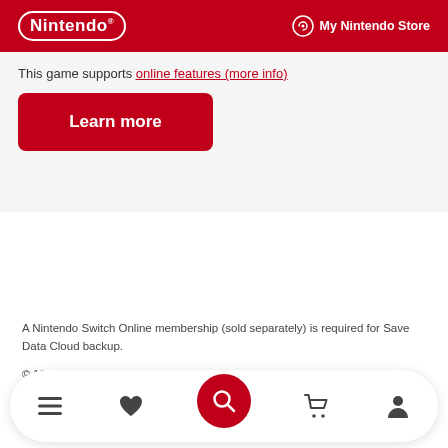Nintendo | My Nintendo Store
This game supports [partially visible/obscured link text]
Learn more
A Nintendo Switch Online membership (sold separately) is required for Save Data Cloud backup.
© 1970-2019 Fujiko Pro
©BANDAI NAMCO Entertainment Inc.
Developed by Marvelous/Brownies
Navigation bar: menu, favorites, search, cart, account